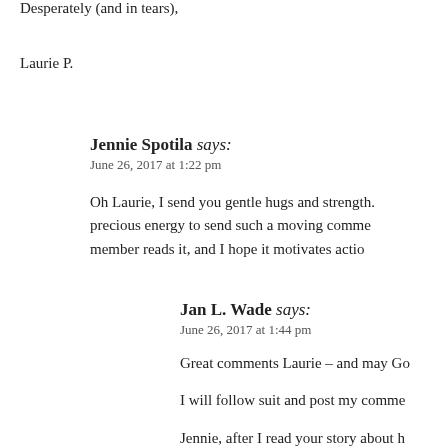Desperately (and in tears),
Laurie P.
Jennie Spotila says: June 26, 2017 at 1:22 pm
Oh Laurie, I send you gentle hugs and strength. Thank you for spending your precious energy to send such a moving comment. I hope every committee member reads it, and I hope it motivates action.
Jan L. Wade says: June 26, 2017 at 1:44 pm
Great comments Laurie – and may Go
I will follow suit and post my comme
Jennie, after I read your story about h